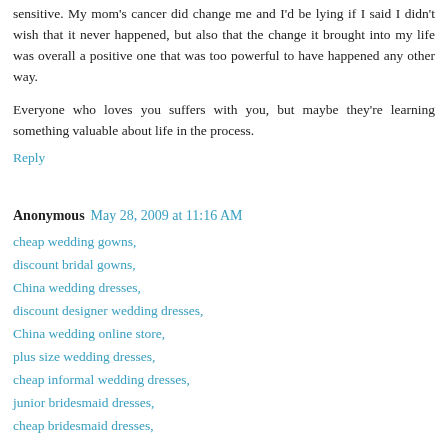sensitive. My mom's cancer did change me and I'd be lying if I said I didn't wish that it never happened, but also that the change it brought into my life was overall a positive one that was too powerful to have happened any other way.
Everyone who loves you suffers with you, but maybe they're learning something valuable about life in the process.
Reply
Anonymous May 28, 2009 at 11:16 AM
cheap wedding gowns,
discount bridal gowns,
China wedding dresses,
discount designer wedding dresses,
China wedding online store,
plus size wedding dresses,
cheap informal wedding dresses,
junior bridesmaid dresses,
cheap bridesmaid dresses,